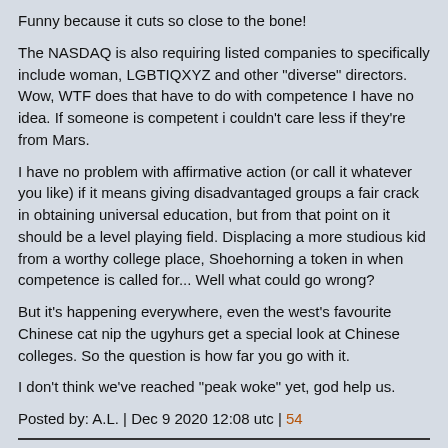Funny because it cuts so close to the bone!
The NASDAQ is also requiring listed companies to specifically include woman, LGBTIQXYZ and other "diverse" directors. Wow, WTF does that have to do with competence I have no idea. If someone is competent i couldn't care less if they're from Mars.
I have no problem with affirmative action (or call it whatever you like) if it means giving disadvantaged groups a fair crack in obtaining universal education, but from that point on it should be a level playing field. Displacing a more studious kid from a worthy college place, Shoehorning a token in when competence is called for... Well what could go wrong?
But it's happening everywhere, even the west's favourite Chinese cat nip the ugyhurs get a special look at Chinese colleges. So the question is how far you go with it.
I don't think we've reached "peak woke" yet, god help us.
Posted by: A.L. | Dec 9 2020 12:08 utc | 54
As the plane has now been scrutinized by several international safety agencies and has received significant updates I see no reason why the 737 MAX should still be regarded as less safe than any other plane. But that is the rational approach.